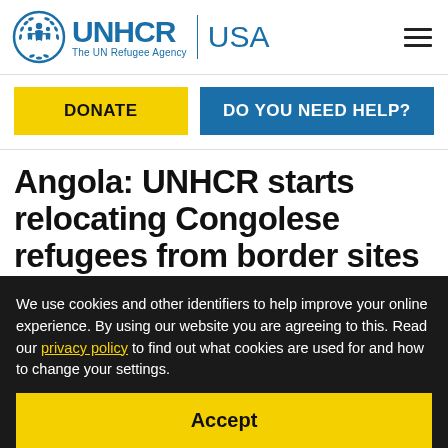[Figure (logo): UNHCR USA logo with UN emblem, UNHCR wordmark, The UN Refugee Agency tagline, vertical divider, and USA text]
DONATE
DO YOU NEED HELP?
Angola: UNHCR starts relocating Congolese refugees from border sites
This is a summary of what was said by UNHCR
We use cookies and other identifiers to help improve your online experience. By using our website you are agreeing to this. Read our privacy policy to find out what cookies are used for and how to change your settings.
Accept